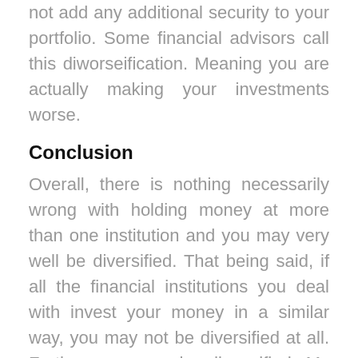not add any additional security to your portfolio. Some financial advisors call this diworseification. Meaning you are actually making your investments worse.
Conclusion
Overall, there is nothing necessarily wrong with holding money at more than one institution and you may very well be diversified. That being said, if all the financial institutions you deal with invest your money in a similar way, you may not be diversified at all. Further, you may be diworsified. My personal opinion is that we should simplify our lives and have